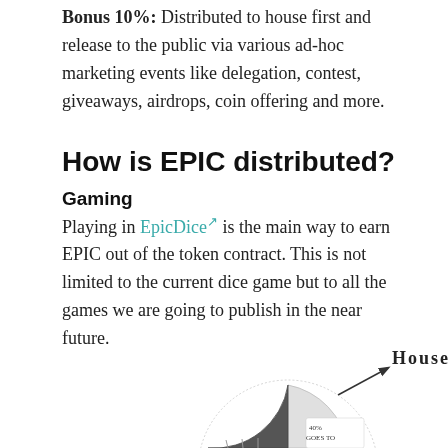Bonus 10%: Distributed to house first and release to the public via various ad-hoc marketing events like delegation, contest, giveaways, airdrops, coin offering and more.
How is EPIC distributed?
Gaming
Playing in EpicDice [ext] is the main way to earn EPIC out of the token contract. This is not limited to the current dice game but to all the games we are going to publish in the near future.
[Figure (pie-chart): Partial pie chart visible at bottom of page showing 40% goes to House, with handwritten annotation 'HOUSE' and '40% GOES TO']